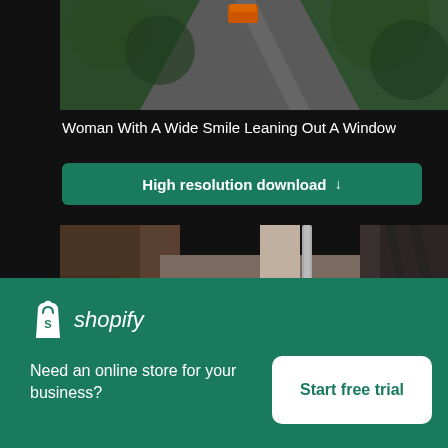[Figure (photo): Aerial or elevated view of a road with trees and a vehicle, cropped at top]
Woman With A Wide Smile Leaning Out A Window
High resolution download ↓
[Figure (photo): Narrow alleyway between old stone/brick buildings with a window and drainpipe visible]
[Figure (logo): Shopify logo with shopping bag icon and italic shopify wordmark]
Need an online store for your business?
Start free trial